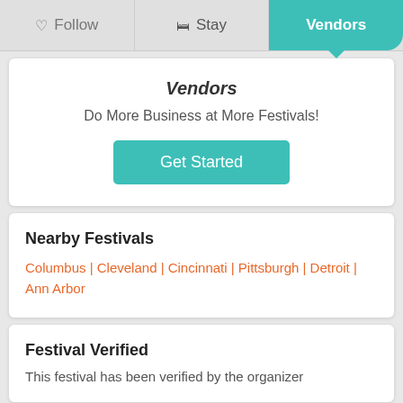Follow | Stay | Vendors
Vendors
Do More Business at More Festivals!
Get Started
Nearby Festivals
Columbus | Cleveland | Cincinnati | Pittsburgh | Detroit | Ann Arbor
Festival Verified
This festival has been verified by the organizer
Official Festival Links